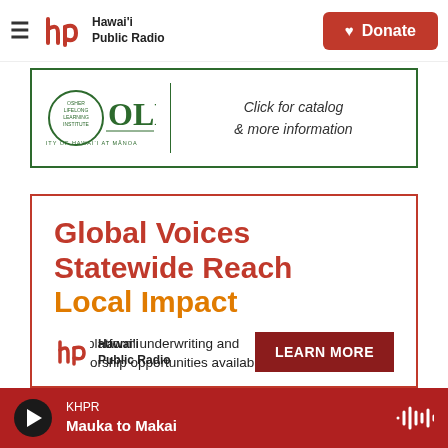Hawai'i Public Radio — Donate
[Figure (logo): OLLI — Osher Lifelong Learning Institute, University of Hawaii at Manoa — Click for catalog & more information]
[Figure (infographic): Global Voices Statewide Reach Local Impact — Multi-platform underwriting and sponsorship opportunities available — Hawaii Public Radio — LEARN MORE]
KHPR — Mauka to Makai